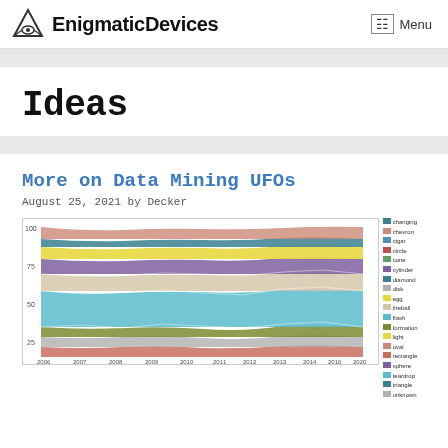EnigmaticDevices  Menu
Ideas
More on Data Mining UFOs
August 25, 2021 by Decker
[Figure (area-chart): Stacked area chart showing UFO sighting shapes proportions over time from approximately 2006 to 2020, with multiple colored bands representing different shape categories including changing, chevron, cigar, circle, cone, cross, cylinder, diamond, disk, egg, fireball, flash, formation, hexagon, light, diamond, other, oval, rectangle, sphere, teardrop, triangle, unknown]